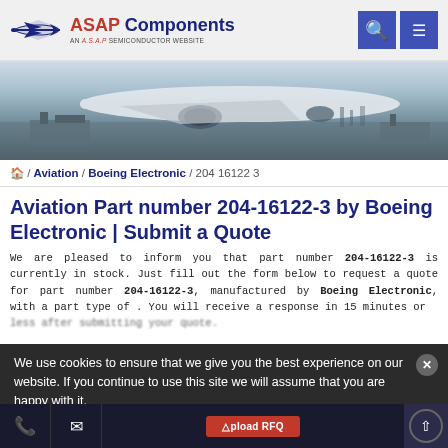[Figure (logo): ASAP Components logo — airplane silhouette, red ASAP text, blue Components text, tagline AN A.S.A.P SEMICONDUCTOR WEBSITE]
[Figure (photo): Hero banner photo of commercial airplane on tarmac with ground equipment and misty background]
/ Aviation / Boeing Electronic / 204 16122 3
Aviation Part number 204-16122-3 by Boeing Electronic | Submit a Quote
We are pleased to inform you that part number 204-16122-3 is currently in stock. Just fill out the form below to request a quote for part number 204-16122-3, manufactured by Boeing Electronic, with a part type of . You will receive a response in 15 minutes or less after submitting your quote.
We use cookies to ensure that we give you the best experience on our website. If you continue to use this site we will assume that you are happy with it.
Part Number 204-16122-3 Specification